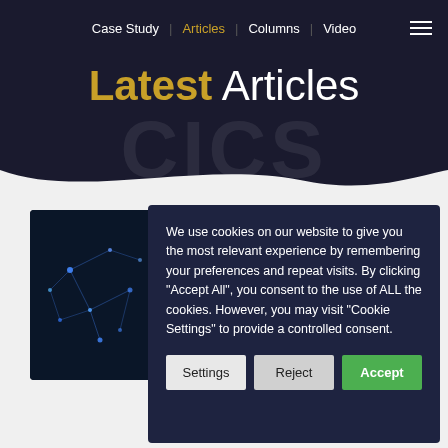Case Study | Articles | Columns | Video
Latest Articles
[Figure (photo): Dark background image with glowing blue network/constellation nodes on a tablet device]
We use cookies on our website to give you the most relevant experience by remembering your preferences and repeat visits. By clicking "Accept All", you consent to the use of ALL the cookies. However, you may visit "Cookie Settings" to provide a controlled consent.
Settings | Reject | Accept